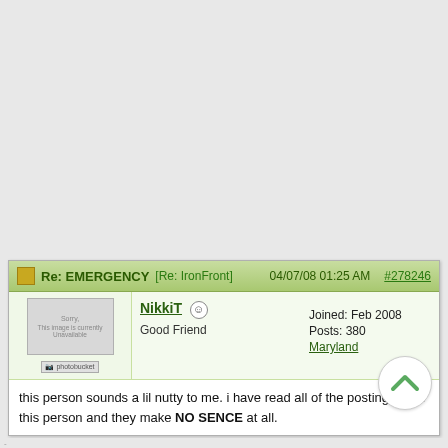Re: EMERGENCY [Re: IronFront]   04/07/08 01:25 AM  #278246
NikkiT  Good Friend  Joined: Feb 2008  Posts: 380  Maryland
this person sounds a lil nutty to me. i have read all of the postings from this person and they make NO SENCE at all.